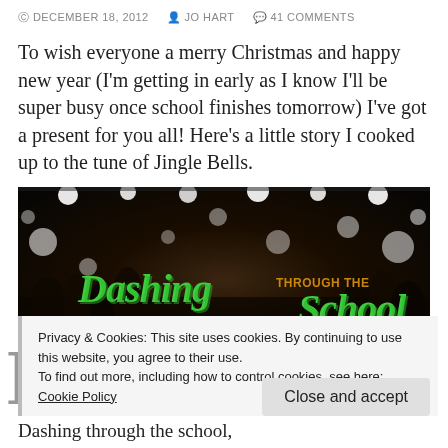DECEMBER 18, 2012  JO HART  41 COMMENTS
To wish everyone a merry Christmas and happy new year (I'm getting in early as I know I'll be super busy once school finishes tomorrow) I've got a present for you all! Here's a little story I cooked up to the tune of Jingle Bells.
[Figure (photo): Dark blurred photo of a crowd of people on stage with bright stage lights. Overlaid text reads 'Dashing THROUGH THE School' in large green stylized letters.]
Privacy & Cookies: This site uses cookies. By continuing to use this website, you agree to their use.
To find out more, including how to control cookies, see here: Cookie Policy
Close and accept
Dashing through the school,